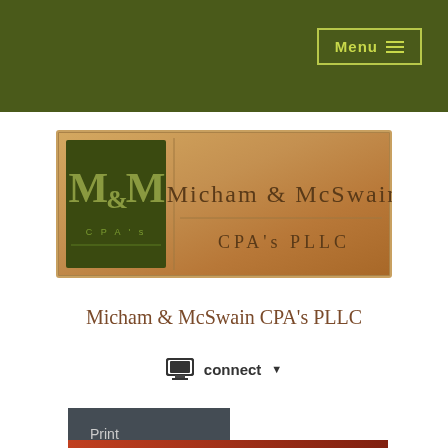Menu
[Figure (logo): Micham & McSwain CPA's PLLC logo — brass/bronze colored nameplate with MM monogram on dark green background on left, company name on right]
Micham & McSwain CPA's PLLC
connect ▾
Print